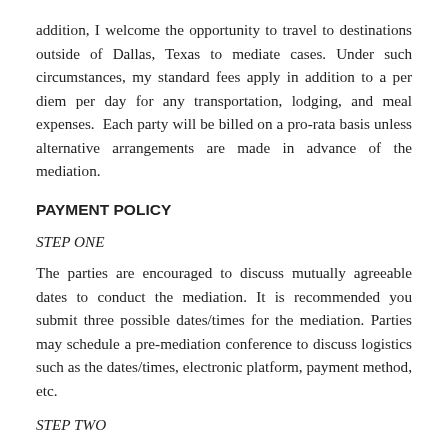addition, I welcome the opportunity to travel to destinations outside of Dallas, Texas to mediate cases. Under such circumstances, my standard fees apply in addition to a per diem per day for any transportation, lodging, and meal expenses. Each party will be billed on a pro-rata basis unless alternative arrangements are made in advance of the mediation.
PAYMENT POLICY
STEP ONE
The parties are encouraged to discuss mutually agreeable dates to conduct the mediation. It is recommended you submit three possible dates/times for the mediation. Parties may schedule a pre-mediation conference to discuss logistics such as the dates/times, electronic platform, payment method, etc.
STEP TWO